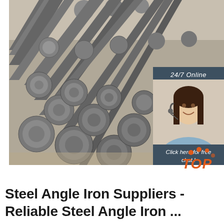[Figure (photo): Stack of steel round bars/rods piled together in an industrial setting, with a customer service chat widget overlay in the top right showing a smiling woman with a headset, '24/7 Online' header, 'Click here for free chat!' text, and an orange 'QUOTATION' button]
Steel Angle Iron Suppliers - Reliable Steel Angle Iron ...